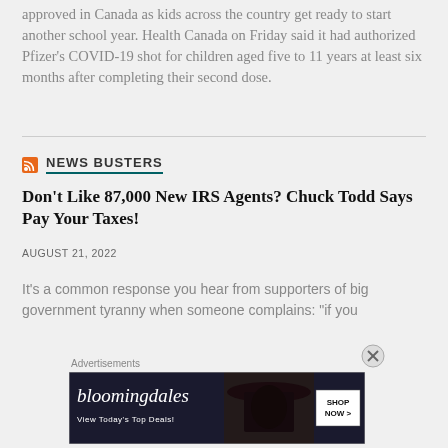approved in Canada as kids across the country get ready to start another school year. Health Canada on Friday said it had authorized Pfizer's COVID-19 shot for children aged five to 11 years at least six months after completing their second dose.
NEWS BUSTERS
Don't Like 87,000 New IRS Agents? Chuck Todd Says Pay Your Taxes!
AUGUST 21, 2022
It's a common response you hear from supporters of big government tyranny when someone complains: "if you
[Figure (photo): Bloomingdale's advertisement banner with dark background, woman in hat, and 'SHOP NOW >' button. Caption: View Today's Top Deals!]